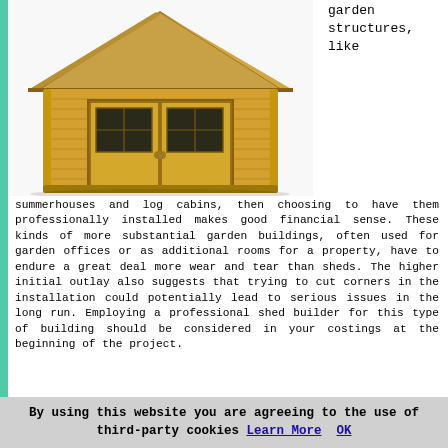[Figure (photo): A wooden garden shed/summerhouse with a peaked roof, double doors with glass panels, and horizontal log-style siding, photographed against a white background.]
garden structures, like
summerhouses and log cabins, then choosing to have them professionally installed makes good financial sense. These kinds of more substantial garden buildings, often used for garden offices or as additional rooms for a property, have to endure a great deal more wear and tear than sheds. The higher initial outlay also suggests that trying to cut corners in the installation could potentially lead to serious issues in the long run. Employing a professional shed builder for this type of building should be considered in your costings at the beginning of the project.
By using this website you are agreeing to the use of third-party cookies Learn More  OK